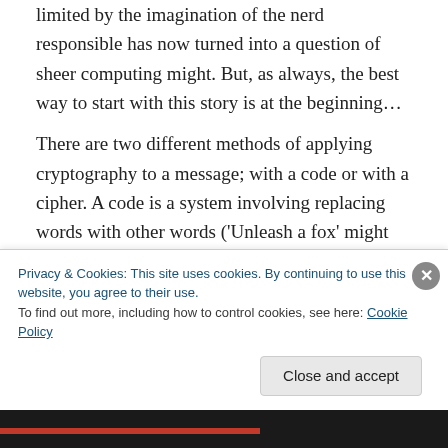limited by the imagination of the nerd responsible has now turned into a question of sheer computing might. But, as always, the best way to start with this story is at the beginning…
There are two different methods of applying cryptography to a message; with a code or with a cipher. A code is a system involving replacing words with other words ('Unleash a fox' might mean 'Send more ammunition', for example), whilst a cipher involves changing individual letters and their ordering. Use of codes can generally only
Privacy & Cookies: This site uses cookies. By continuing to use this website, you agree to their use.
To find out more, including how to control cookies, see here: Cookie Policy
Close and accept